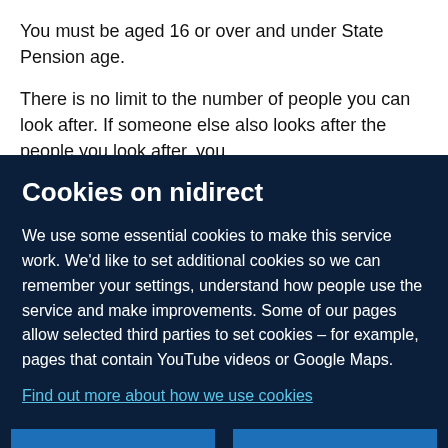You must be aged 16 or over and under State Pension age.
There is no limit to the number of people you can look after. If someone else also looks after the people you look after, you
Cookies on nidirect
We use some essential cookies to make this service work. We'd like to set additional cookies so we can remember your settings, understand how people use the service and make improvements. Some of our pages allow selected third parties to set cookies – for example, pages that contain YouTube videos or Google Maps.
Find out more about how we use cookies
Reject cookies
Accept cookies